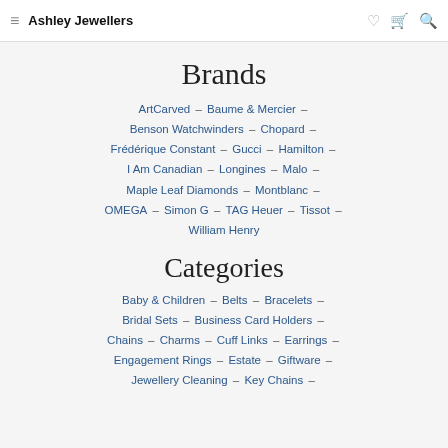Ashley Jewellers
Brands
ArtCarved – Baume & Mercier – Benson Watchwinders – Chopard – Frédérique Constant – Gucci – Hamilton – I Am Canadian – Longines – Malo – Maple Leaf Diamonds – Montblanc – OMEGA – Simon G – TAG Heuer – Tissot – William Henry
Categories
Baby & Children – Belts – Bracelets – Bridal Sets – Business Card Holders – Chains – Charms – Cuff Links – Earrings – Engagement Rings – Estate – Giftware – Jewellery Cleaning – Key Chains –